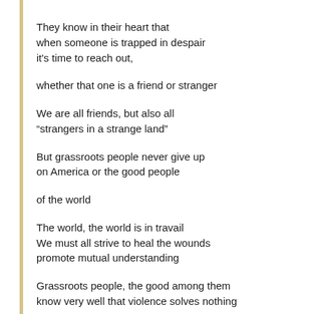They know in their heart that
when someone is trapped in despair
it's time to reach out,

whether that one is a friend or stranger

We are all friends, but also all
“strangers in a strange land”

But grassroots people never give up
on America or the good people

of the world

The world, the world is in travail
We must all strive to heal the wounds
promote mutual understanding

Grassroots people, the good among them
know very well that violence solves nothing